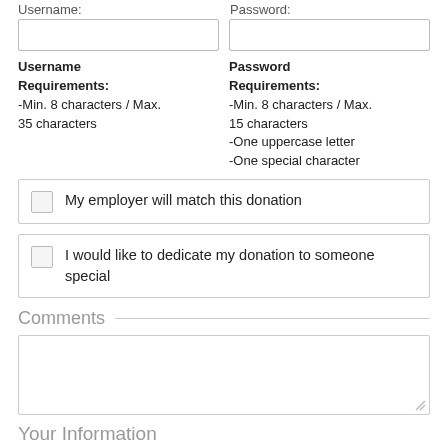Username:
Password:
[Figure (other): Username input field (empty text box)]
[Figure (other): Password input field (empty text box)]
Username Requirements:
-Min. 8 characters / Max. 35 characters
Password Requirements:
-Min. 8 characters / Max. 15 characters
-One uppercase letter
-One special character
My employer will match this donation
I would like to dedicate my donation to someone special
Comments
[Figure (other): Comments textarea (empty, resizable)]
Your Information